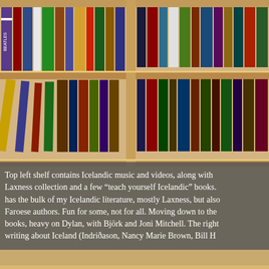[Figure (photo): Photograph of wooden bookshelves filled with books, CDs and videos. Top portion shows shelves with colorful spines of books and media, natural wood construction, viewed from slightly below.]
Top left shelf contains Icelandic music and videos, along with Laxness collection and a few "teach yourself Icelandic" books. has the bulk of my Icelandic literature, mostly Laxness, but also Faroese authors. Fun for some, not for all. Moving down to the books, heavy on Dylan, with Björk and Joni Mitchell. The right writing about Iceland (Indriðason, Nancy Marie Brown, Bill H
[Figure (photo): Photograph of lower wooden bookshelves filled with books. Books with various spines visible including titles such as 'AUBREY BEARDSLEY', 'Out of Antarctica', 'Ancient', 'Mary', and other partially visible titles. Natural pine wood shelving.]